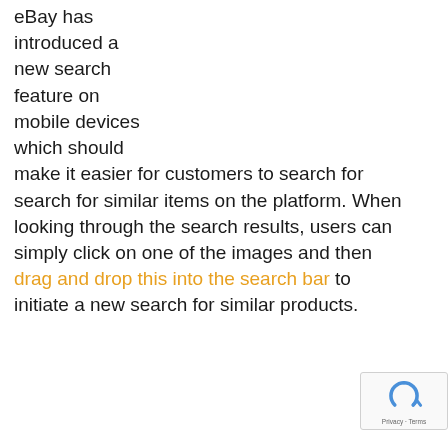eBay has introduced a new search feature on mobile devices which should make it easier for customers to search for search for similar items on the platform. When looking through the search results, users can simply click on one of the images and then drag and drop this into the search bar to initiate a new search for similar products.